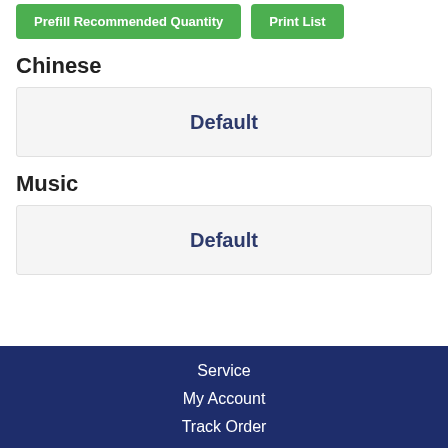Prefill Recommended Quantity
Print List
Chinese
Default
Music
Default
Service
My Account
Track Order